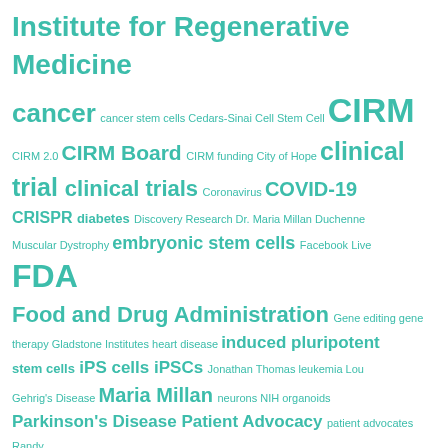[Figure (infographic): Word cloud with medical/stem cell research terms in teal/turquoise color on white background. Larger words indicate higher frequency. Terms include Institute for Regenerative Medicine, cancer, CIRM, CIRM Board, clinical trials, COVID-19, embryonic stem cells, FDA, Food and Drug Administration, and many others.]